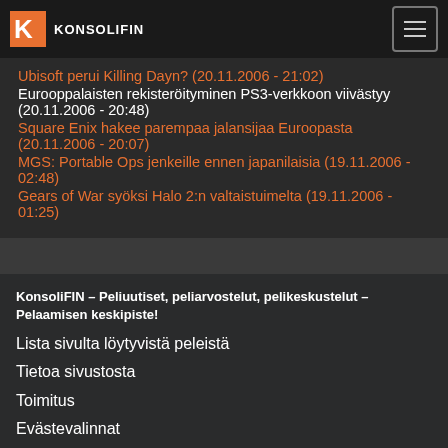KONSOLIFIN
Ubisoft perui Killing Dayn? (20.11.2006 - 21:02)
Eurooppalaisten rekisteröityminen PS3-verkkoon viivästyy (20.11.2006 - 20:48)
Square Enix hakee parempaa jalansijaa Euroopasta (20.11.2006 - 20:07)
MGS: Portable Ops jenkeille ennen japanilaisia (19.11.2006 - 02:48)
Gears of War syöksi Halo 2:n valtaistuimelta (19.11.2006 - 01:25)
KonsoliFIN – Peliuutiset, peliarvostelut, pelikeskustelut – Pelaamisen keskipiste!
Lista sivulta löytyvistä peleistä
Tietoa sivustosta
Toimitus
Evästevalinnat